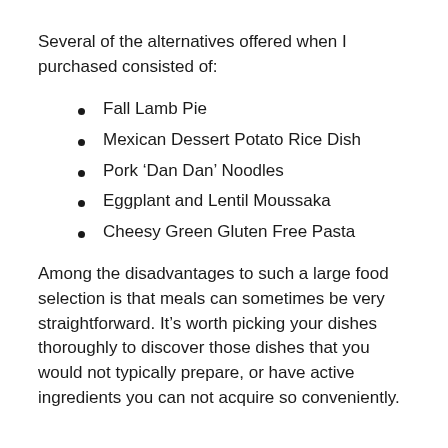Several of the alternatives offered when I purchased consisted of:
Fall Lamb Pie
Mexican Dessert Potato Rice Dish
Pork ‘Dan Dan’ Noodles
Eggplant and Lentil Moussaka
Cheesy Green Gluten Free Pasta
Among the disadvantages to such a large food selection is that meals can sometimes be very straightforward. It’s worth picking your dishes thoroughly to discover those dishes that you would not typically prepare, or have active ingredients you can not acquire so conveniently.